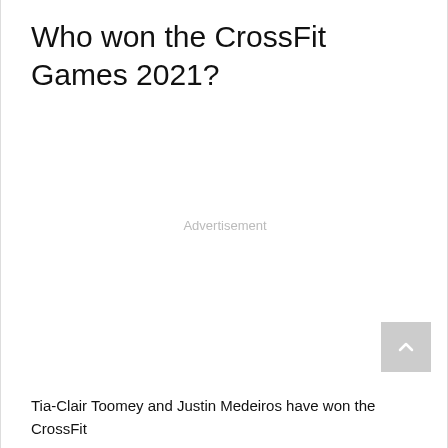Who won the CrossFit Games 2021?
Advertisement
Tia-Clair Toomey and Justin Medeiros have won the CrossFit